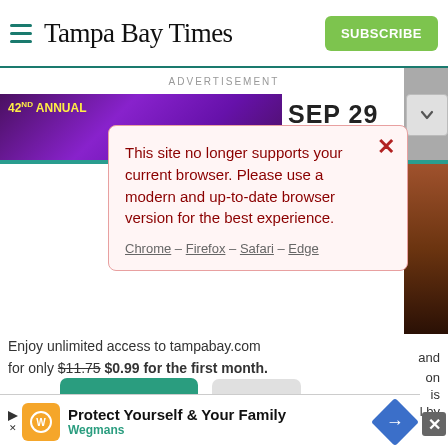Tampa Bay Times
ADVERTISEMENT
[Figure (screenshot): Advertisement banner showing 42nd Annual event, SEP 29]
[Figure (screenshot): Alert modal: This site no longer supports your current browser. Please use a modern and up-to-date browser version for the best experience. Chrome – Firefox – Safari – Edge]
Enjoy unlimited access to tampabay.com for only $11.75 $0.99 for the first month.
Interested in print delivery? Subscribe here →
[Figure (screenshot): Bottom advertisement: Protect Yourself & Your Family – Wegmans]